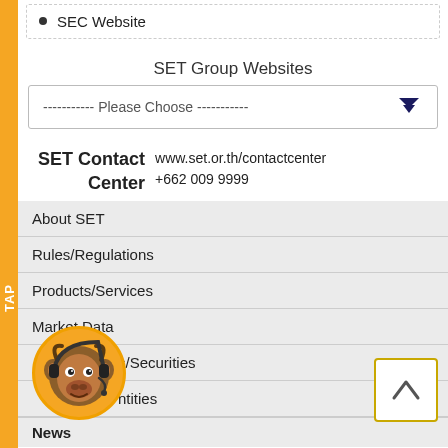SEC Website
SET Group Websites
----------- Please Choose -----------
SET Contact Center   www.set.or.th/contactcenter   +662 009 9999
About SET
Rules/Regulations
Products/Services
Market Data
…s/Securities
…ntities
News